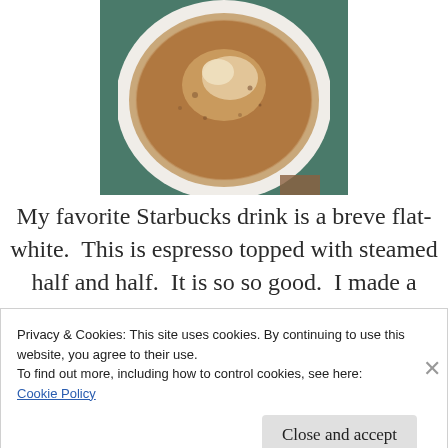[Figure (photo): Top-down view of a Starbucks coffee drink (breve flat-white) in a white cup, showing frothy espresso surface with brown and cream tones, placed on a dark teal/green surface.]
My favorite Starbucks drink is a breve flat-white.  This is espresso topped with steamed half and half.  It is so so good.  I made a strong
Privacy & Cookies: This site uses cookies. By continuing to use this website, you agree to their use.
To find out more, including how to control cookies, see here:
Cookie Policy
Close and accept